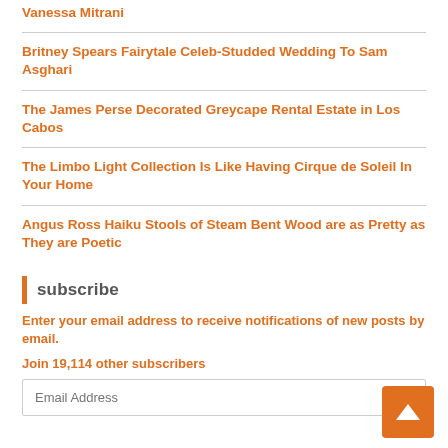Vanessa Mitrani
Britney Spears Fairytale Celeb-Studded Wedding To Sam Asghari
The James Perse Decorated Greycape Rental Estate in Los Cabos
The Limbo Light Collection Is Like Having Cirque de Soleil In Your Home
Angus Ross Haiku Stools of Steam Bent Wood are as Pretty as They are Poetic
subscribe
Enter your email address to receive notifications of new posts by email.
Join 19,114 other subscribers
Email Address